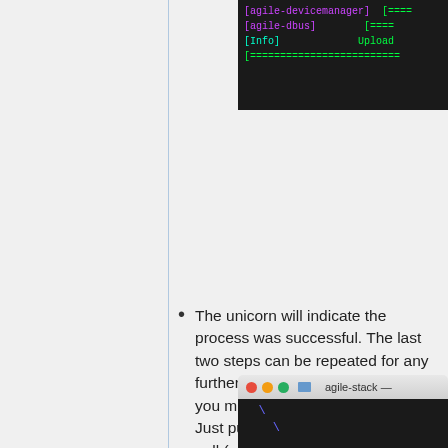[Figure (screenshot): Terminal window showing agile-devicemanager, agile-dbus, Info, and progress bar lines in green and magenta text on black background]
The unicorn will indicate the process was successful. The last two steps can be repeated for any further changes to the Stack that you might want to apply locally. Just pull the latest stack with git pull (or apply your own changes) and push to resin again
[Figure (screenshot): macOS terminal window titled 'agile-stack' with black body showing a blue backslash prompt]